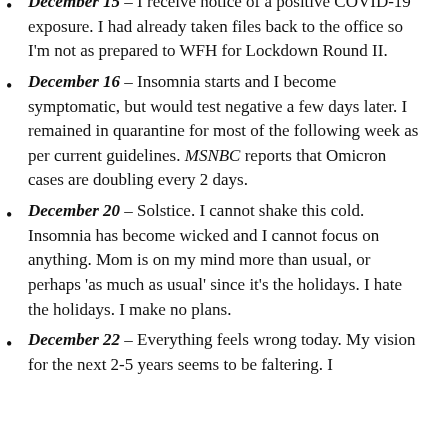December 15 – I receive notice of a positive COVID-19 exposure. I had already taken files back to the office so I'm not as prepared to WFH for Lockdown Round II.
December 16 – Insomnia starts and I become symptomatic, but would test negative a few days later. I remained in quarantine for most of the following week as per current guidelines. MSNBC reports that Omicron cases are doubling every 2 days.
December 20 – Solstice. I cannot shake this cold. Insomnia has become wicked and I cannot focus on anything. Mom is on my mind more than usual, or perhaps 'as much as usual' since it's the holidays. I hate the holidays. I make no plans.
December 22 – Everything feels wrong today. My vision for the next 2-5 years seems to be faltering. I